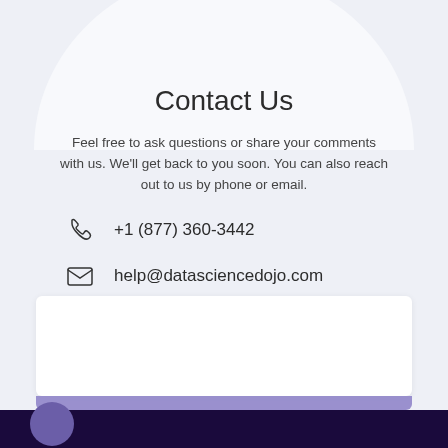Contact Us
Feel free to ask questions or share your comments with us. We'll get back to you soon. You can also reach out to us by phone or email.
+1 (877) 360-3442
help@datasciencedojo.com